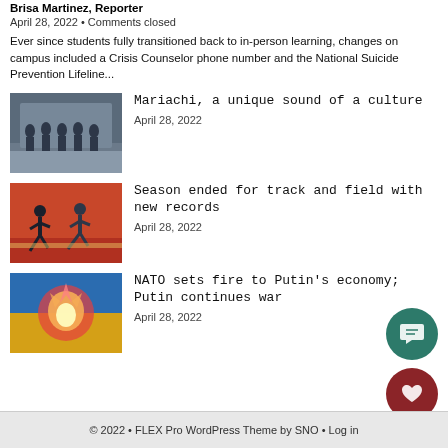Brisa Martinez, Reporter
April 28, 2022 • Comments closed
Ever since students fully transitioned back to in-person learning, changes on campus included a Crisis Counselor phone number and the National Suicide Prevention Lifeline...
[Figure (photo): Group of mariachi musicians standing together outdoors]
Mariachi, a unique sound of a culture
April 28, 2022
[Figure (photo): Track and field athletes running a race on a red track]
Season ended for track and field with new records
April 28, 2022
[Figure (photo): Colorful illustration showing fire and Ukrainian colors representing NATO sanctions on Russia]
NATO sets fire to Putin's economy; Putin continues war
April 28, 2022
© 2022 • FLEX Pro WordPress Theme by SNO • Log in